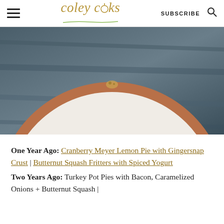coley cooks | SUBSCRIBE
[Figure (photo): Close-up photo of a white pie or tart with a copper/terracotta rim on a dark wooden surface, viewed from above, showing the bottom half of the round dish]
One Year Ago: Cranberry Meyer Lemon Pie with Gingersnap Crust | Butternut Squash Fritters with Spiced Yogurt
Two Years Ago: Turkey Pot Pies with Bacon, Caramelized Onions + Butternut Squash |